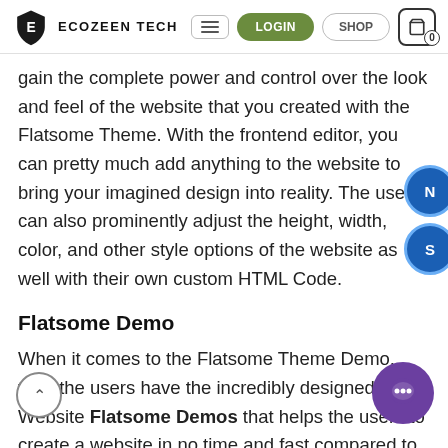Ecozeen Tech — navigation bar with LOGIN, SHOP, cart
gain the complete power and control over the look and feel of the website that you created with the Flatsome Theme. With the frontend editor, you can pretty much add anything to the website to bring your imagined design into reality. The users can also prominently adjust the height, width, color, and other style options of the website as well with their own custom HTML Code.
Flatsome Demo
When it comes to the Flatsome Theme Demo, then the users have the incredibly designed Website Flatsome Demos that helps the users to create a website in no time and fast compared to the other website building options. The to use demos available in the library of Flatsome are designed